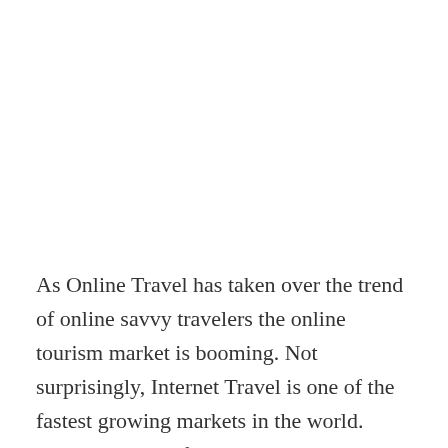As Online Travel has taken over the trend of online savvy travelers the online tourism market is booming. Not surprisingly, Internet Travel is one of the fastest growing markets in the world. India is also not far behind in this race as according to the Pundits industry, the Online Travel Market in